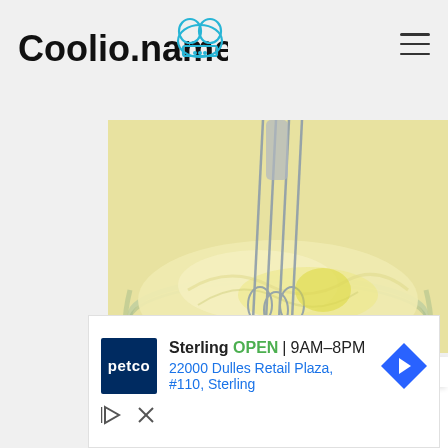Coolio.name
[Figure (photo): Mayonnaise being whisked in a glass bowl, creamy yellow color, whisk visible]
THE BEST RECIPES
Mayonnaise Recipes
2020
Hello everyone, I am Misya, or Flavia
[Figure (screenshot): Petco advertisement: Sterling OPEN 9AM-8PM, 22000 Dulles Retail Plaza, #110, Sterling]